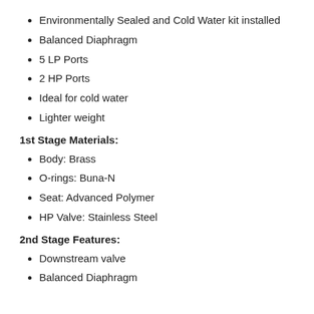Environmentally Sealed and Cold Water kit installed
Balanced Diaphragm
5 LP Ports
2 HP Ports
Ideal for cold water
Lighter weight
1st Stage Materials:
Body: Brass
O-rings: Buna-N
Seat: Advanced Polymer
HP Valve: Stainless Steel
2nd Stage Features:
Downstream valve
Balanced Diaphragm